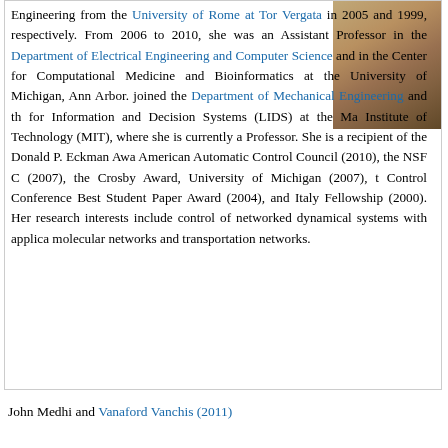[Figure (photo): Portrait photo of a woman, partially visible in the upper right corner]
Engineering from the University of Rome at Tor Vergata in 2005 and 1999, respectively. From 2006 to 2010, she was an Assistant Professor in the Department of Electrical Engineering and Computer Science and in the Center for Computational Medicine and Bioinformatics at the University of Michigan, Ann Arbor. joined the Department of Mechanical Engineering and th for Information and Decision Systems (LIDS) at the Ma Institute of Technology (MIT), where she is currently a Professor. She is a recipient of the Donald P. Eckman Awa American Automatic Control Council (2010), the NSF C (2007), the Crosby Award, University of Michigan (2007), t Control Conference Best Student Paper Award (2004), and Italy Fellowship (2000). Her research interests include control of networked dynamical systems with applica molecular networks and transportation networks.
John Medhi and Vanaford Vanchis (2011)